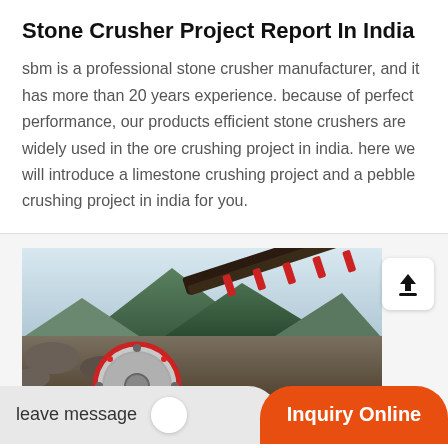Stone Crusher Project Report In India
sbm is a professional stone crusher manufacturer, and it has more than 20 years experience. because of perfect performance, our products efficient stone crushers are widely used in the ore crushing project in india. here we will introduce a limestone crushing project and a pebble crushing project in india for you.
[Figure (photo): Photograph of a stone crusher machine at a quarry site in India, with mountains and green hills in the background. A large circular crusher wheel with red markings is visible in the foreground, along with conveyor belts.]
leave message
Inquiry Online